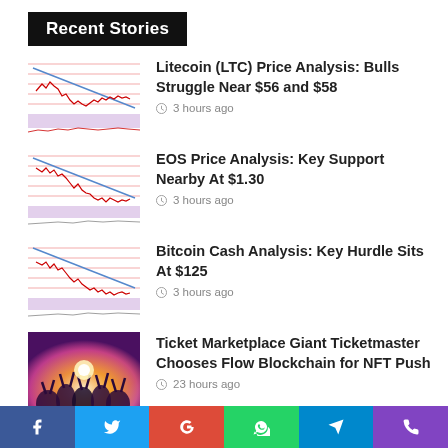Recent Stories
Litecoin (LTC) Price Analysis: Bulls Struggle Near $56 and $58 — 3 hours ago
EOS Price Analysis: Key Support Nearby At $1.30 — 3 hours ago
Bitcoin Cash Analysis: Key Hurdle Sits At $125 — 3 hours ago
Ticket Marketplace Giant Ticketmaster Chooses Flow Blockchain for NFT Push — 23 hours ago
Social share buttons: Facebook, Twitter, Google+, WhatsApp, Telegram, Phone